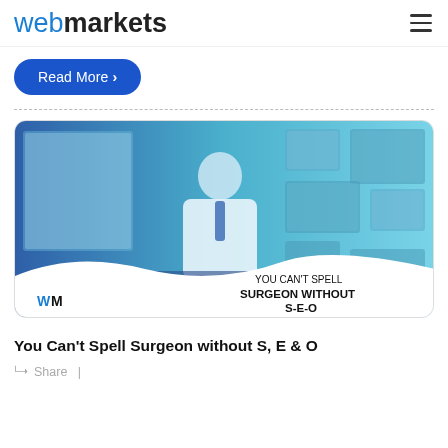webmarkets
Read More ›
[Figure (photo): Doctor in white coat seated at office desk with framed certificates on wall behind, image overlaid with blue-teal gradient. Logo 'WM' bottom-left, text 'YOU CAN’T SPELL SURGEON WITHOUT S-E-O' bottom-right.]
You Can’t Spell Surgeon without S, E & O
Share